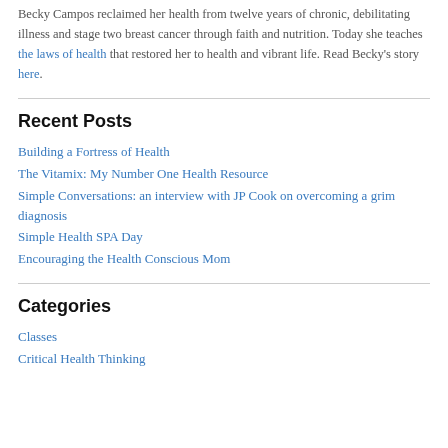Becky Campos reclaimed her health from twelve years of chronic, debilitating illness and stage two breast cancer through faith and nutrition. Today she teaches the laws of health that restored her to health and vibrant life. Read Becky's story here.
Recent Posts
Building a Fortress of Health
The Vitamix: My Number One Health Resource
Simple Conversations: an interview with JP Cook on overcoming a grim diagnosis
Simple Health SPA Day
Encouraging the Health Conscious Mom
Categories
Classes
Critical Health Thinking